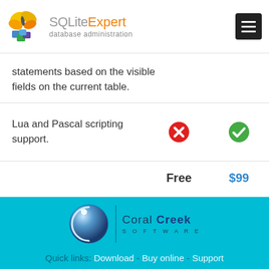SQLiteExpert database administration
statements based on the visible fields on the current table.
| Feature | Free | $99 |
| --- | --- | --- |
| Lua and Pascal scripting support. | ✗ | ✓ |
Free   $99
[Figure (logo): Coral Creek Software logo with globe icon and company name on teal background]
Quick links: Download - Buy online - Support